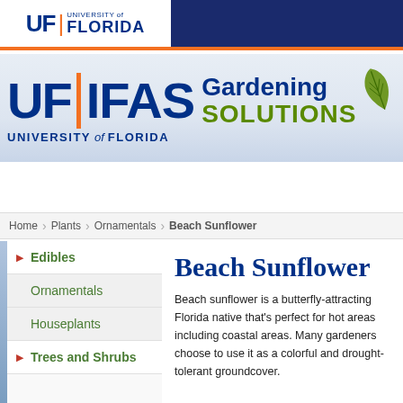[Figure (logo): University of Florida UF logo in top left white box, with navy bar extending to the right]
[Figure (logo): UF|IFAS Gardening Solutions logo with large blue UF|IFAS text, orange vertical bar divider, Gardening Solutions text in blue and green, and a green leaf illustration]
[Figure (screenshot): Green navigation bar with home icon, Plants, Lawns, Design, Care menu items]
Home > Plants > Ornamentals > Beach Sunflower
Edibles
Ornamentals
Houseplants
Trees and Shrubs
Beach Sunflower
Beach sunflower is a butterfly-attracting Florida native that's perfect for hot areas including coastal areas. Many gardeners choose to use it as a colorful and drought-tolerant groundcover.